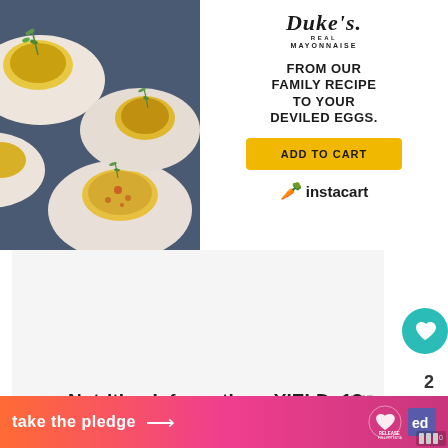[Figure (photo): Photo of deviled eggs garnished with paprika and dill on a blue plate]
[Figure (logo): Duke's Real Mayonnaise logo with tagline 'FROM OUR FAMILY RECIPE TO YOUR DEVILED EGGS.' and Add to Cart button with Instacart logo]
[Figure (other): Blank advertisement placeholder area]
Nutrition Information:  YIELD: 12
SERVING SIZE: 1
[Figure (other): Take the pledge banner ad with Release branding and Instacart watermark]